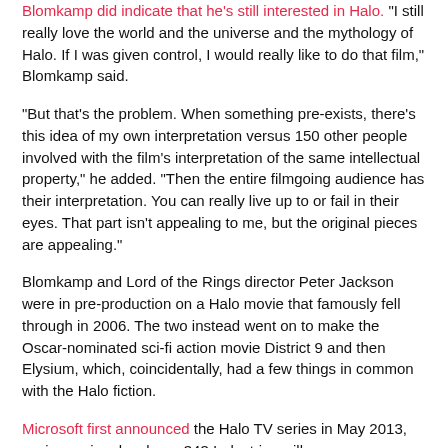Blomkamp did indicate that he's still interested in Halo. "I still really love the world and the universe and the mythology of Halo. If I was given control, I would really like to do that film," Blomkamp said.
"But that's the problem. When something pre-exists, there's this idea of my own interpretation versus 150 other people involved with the film's interpretation of the same intellectual property," he added. "Then the entire filmgoing audience has their interpretation. You can really live up to or fail in their eyes. That part isn't appealing to me, but the original pieces are appealing."
Blomkamp and Lord of the Rings director Peter Jackson were in pre-production on a Halo movie that famously fell through in 2006. The two instead went on to make the Oscar-nominated sci-fi action movie District 9 and then Elysium, which, coincidentally, had a few things in common with the Halo fiction.
Microsoft first announced the Halo TV series in May 2013, saying series developer 343 Industries will oversee development on the show with Steven Spielberg.